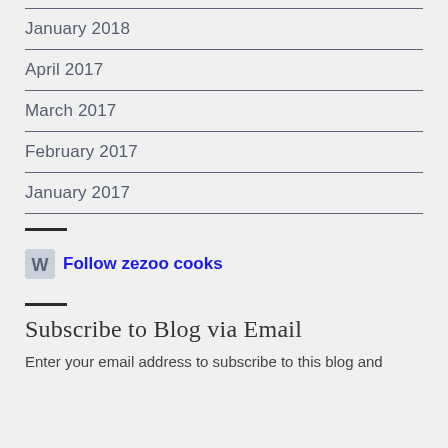January 2018
April 2017
March 2017
February 2017
January 2017
Follow zezoo cooks
Subscribe to Blog via Email
Enter your email address to subscribe to this blog and